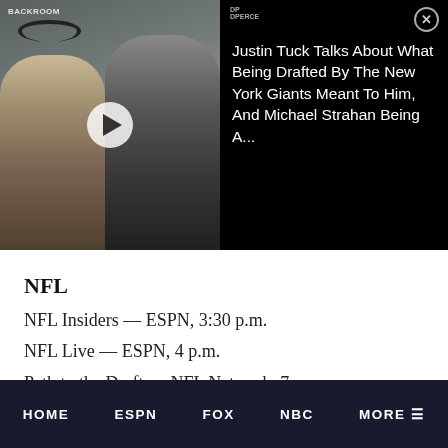[Figure (screenshot): Video thumbnail showing two men in a podcast/interview setting, one wearing headphones, with a play button overlay. Right panel shows video title text on dark background with a close button.]
NFL
NFL Insiders — ESPN, 3:30 p.m.
NFL Live — ESPN, 4 p.m.
Path to the Draft — NFL Network, 7 p.m.
NHL
NHL Live — NHL Network, 5 p.m.
NHL on the Fly — NHL Network, 7 p.m.
HOME   ESPN   FOX   NBC   MORE